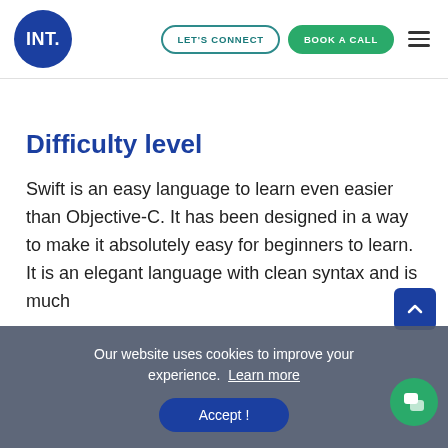INT. | LET'S CONNECT | BOOK A CALL
Difficulty level
Swift is an easy language to learn even easier than Objective-C. It has been designed in a way to make it absolutely easy for beginners to learn.  It is an elegant language with clean syntax and is much mo...
Our website uses cookies to improve your experience.  Learn more
Accept !